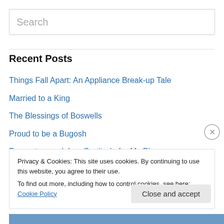Search
Recent Posts
Things Fall Apart: An Appliance Break-up Tale
Married to a King
The Blessings of Boswells
Proud to be a Bugosh
Decorate your Igloo: Gratitude for My Bloom Grandparents in the Time of COVID
Privacy & Cookies: This site uses cookies. By continuing to use this website, you agree to their use.
To find out more, including how to control cookies, see here: Cookie Policy
Close and accept